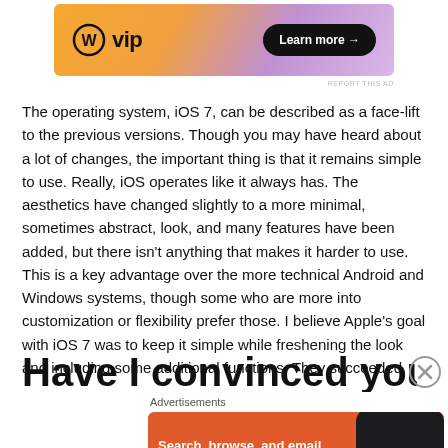[Figure (other): WordPress VIP advertisement banner with gradient orange-purple background, WordPress logo, 'vip' text, and 'Learn more →' button]
REPORT THIS AD
The operating system, iOS 7, can be described as a face-lift to the previous versions. Though you may have heard about a lot of changes, the important thing is that it remains simple to use. Really, iOS operates like it always has. The aesthetics have changed slightly to a more minimal, sometimes abstract, look, and many features have been added, but there isn't anything that makes it harder to use. This is a key advantage over the more technical Android and Windows systems, though some who are more into customization or flexibility prefer those. I believe Apple's goal with iOS 7 was to keep it simple while freshening the look and including some additional functions. They succeeded.
Have I convinced you yet?
Advertisements
[Figure (other): DuckDuckGo advertisement banner with orange background showing 'Search, browse, and email with more privacy. All in One Free App' with DuckDuckGo logo and phone mockup]